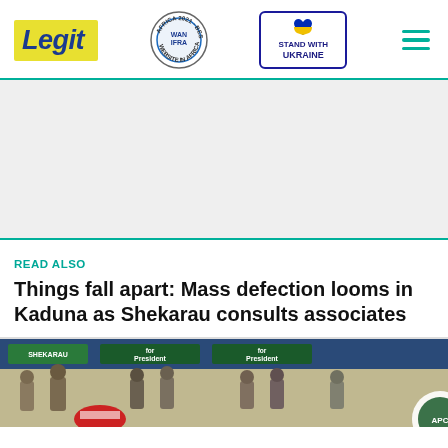Legit — WAN-IFRA Best News Website in Africa 2021 — Stand with Ukraine
[Figure (other): Advertisement placeholder (grey area)]
READ ALSO
Things fall apart: Mass defection looms in Kaduna as Shekarau consults associates
[Figure (photo): Photo of a political rally or event with green and blue banners reading 'Shekarau for President', people in crowd, a red and white hat visible in foreground, and a circular party logo badge on the right.]